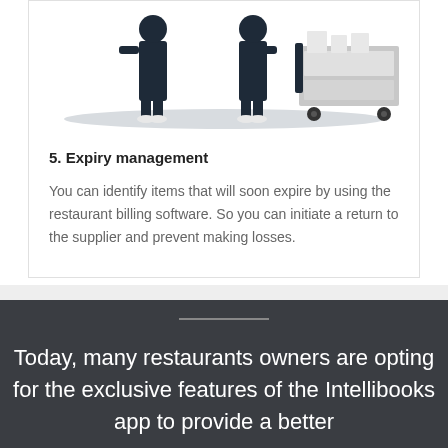[Figure (illustration): Illustration of restaurant staff with a food cart, showing two people in dark uniforms near a serving trolley with food items, against a light gray oval shadow base.]
5. Expiry management
You can identify items that will soon expire by using the restaurant billing software. So you can initiate a return to the supplier and prevent making losses.
Today, many restaurants owners are opting for the exclusive features of the Intellibooks app to provide a better